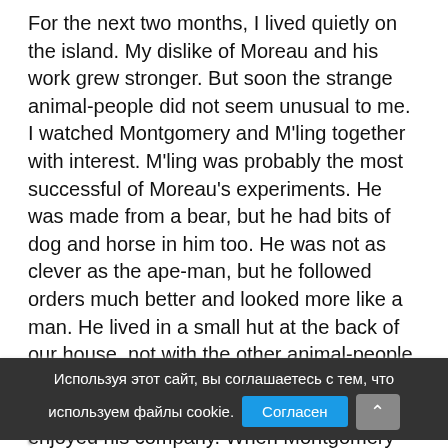For the next two months, I lived quietly on the island. My dislike of Moreau and his work grew stronger. But soon the strange animal-people did not seem unusual to me. I watched Montgomery and M'ling together with interest. M'ling was probably the most successful of Moreau's experiments. He was made from a bear, but he had bits of dog and horse in him too. He was not as clever as the ape-man, but he followed orders much better and looked more like a man. He lived in a small hut at the back of our house, not with the other animal-people in their huts. He followed Montgomery like a dog and most of the time Montgomery enjoyed his company. When Montgomery spoke kindly to him, he jumped around happily like an excited child. But after a few whiskies, Montgomery sometimes kicked him or threw stones at him. Even then, M'ling was happy to be at his master's side. Montgomery and I did not become close friends. After his long
Используя этот сайт, вы соглашаетесь с тем, что используем файлы cookie.